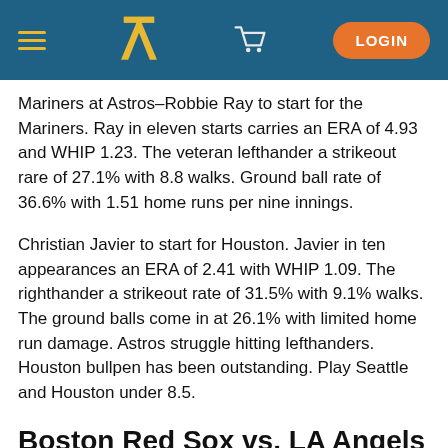TP LOGIN
Mariners at Astros–Robbie Ray to start for the Mariners. Ray in eleven starts carries an ERA of 4.93 and WHIP 1.23. The veteran lefthander a strikeout rare of 27.1% with 8.8 walks. Ground ball rate of 36.6% with 1.51 home runs per nine innings.
Christian Javier to start for Houston. Javier in ten appearances an ERA of 2.41 with WHIP 1.09. The righthander a strikeout rate of 31.5% with 9.1% walks. The ground balls come in at 26.1% with limited home run damage. Astros struggle hitting lefthanders. Houston bullpen has been outstanding. Play Seattle and Houston under 8.5.
Boston Red Sox vs. LA Angels